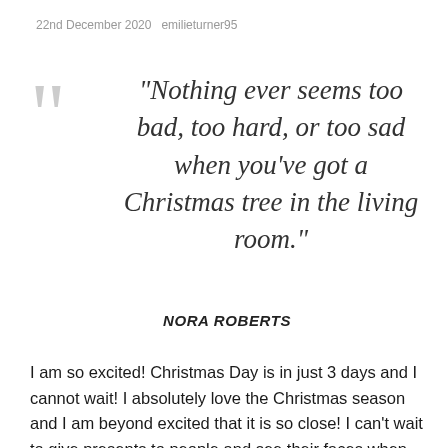22nd December 2020   emilieturner95
“Nothing ever seems too bad, too hard, or too sad when you’ve got a Christmas tree in the living room.”
NORA ROBERTS
I am so excited! Christmas Day is in just 3 days and I cannot wait! I absolutely love the Christmas season and I am beyond excited that it is so close! I can’t wait to give presents to people and see their faces when they get these presents.